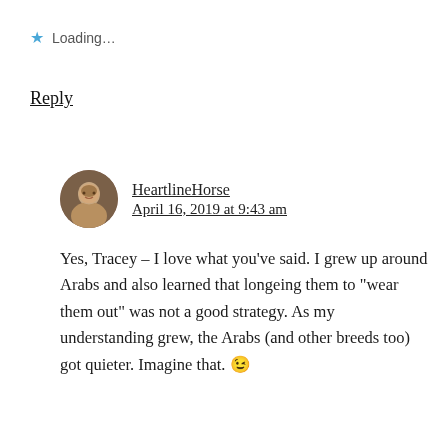Loading...
Reply
HeartlineHorse
April 16, 2019 at 9:43 am
Yes, Tracey – I love what you've said. I grew up around Arabs and also learned that longeing them to “wear them out” was not a good strategy. As my understanding grew, the Arabs (and other breeds too) got quieter. Imagine that. 😉